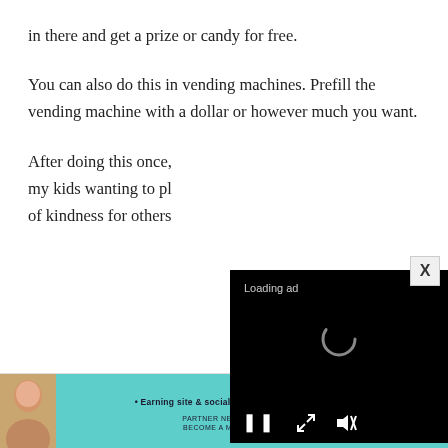in there and get a prize or candy for free.
You can also do this in vending machines. Prefill the vending machine with a dollar or however much you want.
After doing this once, my kids wanting to pl... of kindness for others...
[Figure (screenshot): Video ad overlay showing black background with 'Loading ad' text, a spinning loader icon, and media controls (pause, fullscreen, mute) at the bottom.]
[Figure (screenshot): Advertisement banner for SHE Partner Network with teal background, a woman's photo, tagline 'Earning site & social revenue', SHE logo, and a 'LEARN MORE' button. Also shows an X close button.]